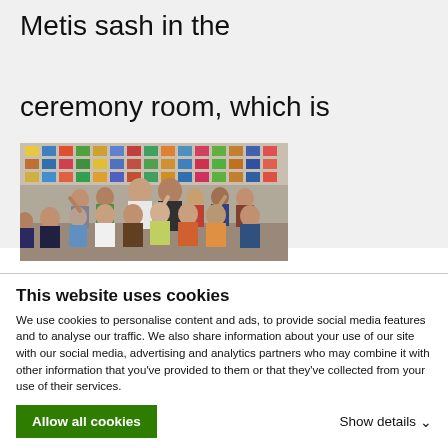Metis sash in the ceremony room, which is their sacred space.
[Figure (photo): A group photo of two teachers and approximately 18 young children in a classroom, with colorful displays on the walls behind them. The children are waving and smiling at the camera.]
This website uses cookies
We use cookies to personalise content and ads, to provide social media features and to analyse our traffic. We also share information about your use of our site with our social media, advertising and analytics partners who may combine it with other information that you've provided to them or that they've collected from your use of their services.
Allow all cookies
Show details